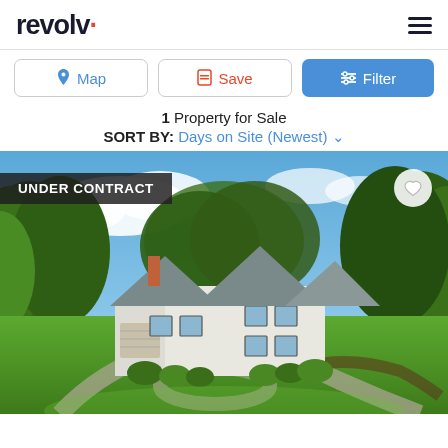revolv
Map | Save | Filter
1 Property for Sale
SORT BY: Days on Site (Newest)
[Figure (photo): Aerial photo of a white colonial-style house with gray roof, attached garage, circular driveway, manicured lawn, and surrounding dense green trees under a partly cloudy blue sky. Badge reads UNDER CONTRACT.]